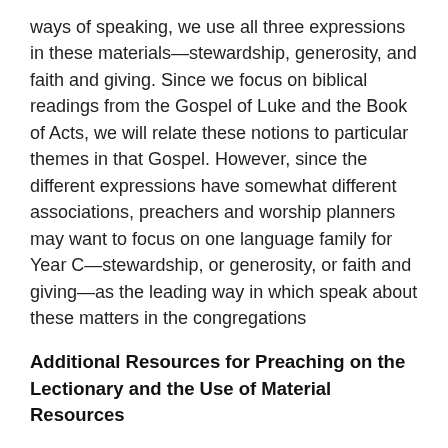ways of speaking, we use all three expressions in these materials—stewardship, generosity, and faith and giving. Since we focus on biblical readings from the Gospel of Luke and the Book of Acts, we will relate these notions to particular themes in that Gospel. However, since the different expressions have somewhat different associations, preachers and worship planners may want to focus on one language family for Year C—stewardship, or generosity, or faith and giving—as the leading way in which speak about these matters in the congregations
Additional Resources for Preaching on the Lectionary and the Use of Material Resources
David N. Mosser, provides exegetical, theological, and homiletical insights in The Stewardship Companion: